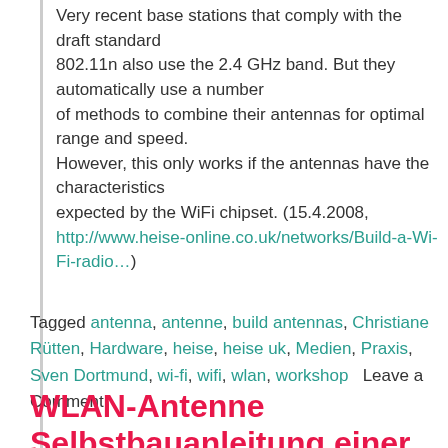Very recent base stations that comply with the draft standard 802.11n also use the 2.4 GHz band. But they automatically use a number of methods to combine their antennas for optimal range and speed. However, this only works if the antennas have the characteristics expected by the WiFi chipset. (15.4.2008, http://www.heise-online.co.uk/networks/Build-a-Wi-Fi-radio…)
Tagged antenna, antenne, build antennas, Christiane Rütten, Hardware, heise, heise uk, Medien, Praxis, Sven Dortmund, wi-fi, wifi, wlan, workshop   Leave a Comment
WLAN-Antenne Selbstbauanleitung einer